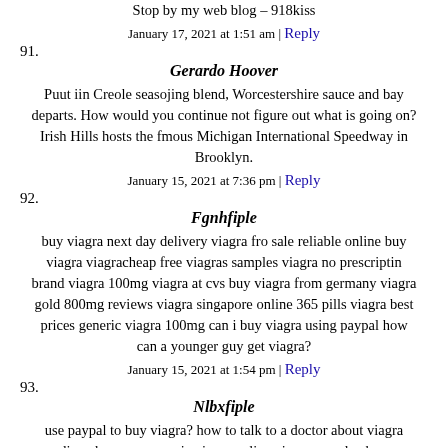Stop by my web blog – 918kiss
January 17, 2021 at 1:51 am | Reply
91. Gerardo Hoover
Puut iin Creole seasojing blend, Worcestershire sauce and bay departs. How would you continue not figure out what is going on? Irish Hills hosts the fmous Michigan International Speedway in Brooklyn.
January 15, 2021 at 7:36 pm | Reply
92. Fgnhfiple
buy viagra next day delivery viagra fro sale reliable online buy viagra viagracheap free viagras samples viagra no prescriptin brand viagra 100mg viagra at cvs buy viagra from germany viagra gold 800mg reviews viagra singapore online 365 pills viagra best prices generic viagra 100mg can i buy viagra using paypal how can a younger guy get viagra?
January 15, 2021 at 1:54 pm | Reply
93. Nlbxfiple
use paypal to buy viagra? how to talk to a doctor about viagra canadian pharmacy generic viagra online viagra canada pharmacy buy cheap generic viagra viagra free